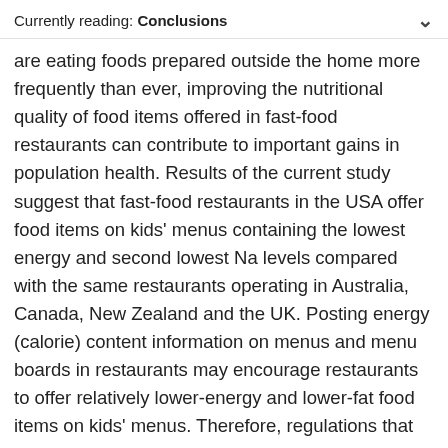Currently reading: Conclusions
are eating foods prepared outside the home more frequently than ever, improving the nutritional quality of food items offered in fast-food restaurants can contribute to important gains in population health. Results of the current study suggest that fast-food restaurants in the USA offer food items on kids' menus containing the lowest energy and second lowest Na levels compared with the same restaurants operating in Australia, Canada, New Zealand and the UK. Posting energy (calorie) content information on menus and menu boards in restaurants may encourage restaurants to offer relatively lower-energy and lower-fat food items on kids' menus. Therefore, regulations that require nutrient disclosure on menus may provide an important incentive for fast-food companies to improve the nutritional quality of foods marketed to children.